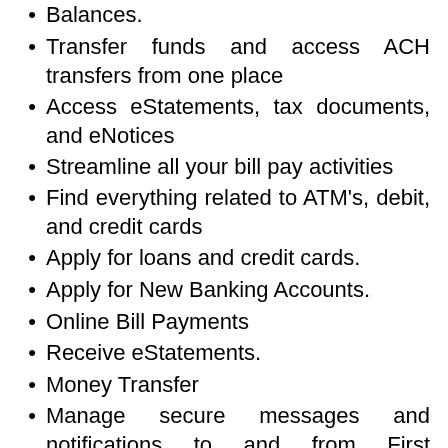Balances.
Transfer funds and access ACH transfers from one place
Access eStatements, tax documents, and eNotices
Streamline all your bill pay activities
Find everything related to ATM's, debit, and credit cards
Apply for loans and credit cards.
Apply for New Banking Accounts.
Online Bill Payments
Receive eStatements.
Money Transfer
Manage secure messages and notifications to and from First Commonwealth Bank.